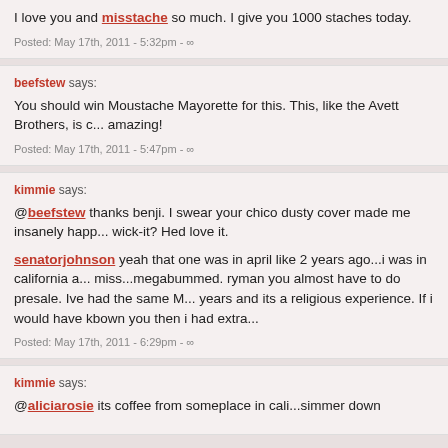I love you and misstache so much. I give you 1000 staches today.
Posted: May 17th, 2011 - 5:32pm - ∞
beefstew says:
You should win Moustache Mayorette for this. This, like the Avett Brothers, is completely amazing!
Posted: May 17th, 2011 - 5:47pm - ∞
kimmie says:
@beefstew thanks benji. I swear your chico dusty cover made me insanely happ... wick-it? Hed love it.
senatorjohnson yeah that one was in april like 2 years ago...i was in california a... miss...megabummed. ryman you almost have to do presale. Ive had the same M... years and its a religious experience. If i would have kbown you then i had extra...
Posted: May 17th, 2011 - 6:29pm - ∞
kimmie says:
@aliciarosie its coffee from someplace in cali...simmer down